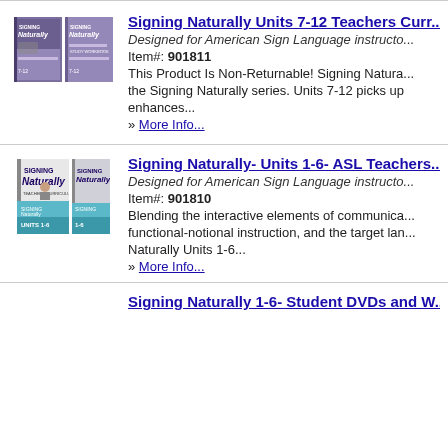[Figure (photo): Book covers for Signing Naturally Units 7-12 Teachers Curriculum, two purple/grey books side by side]
Signing Naturally Units 7-12 Teachers Curr...
Designed for American Sign Language instructo...
Item#: 901811
This Product Is Non-Returnable! Signing Natura... the Signing Naturally series. Units 7-12 picks up enhances...
» More Info...
[Figure (photo): Book covers for Signing Naturally Units 1-6 ASL Teachers, two books side by side with blue/teal lower section]
Signing Naturally- Units 1-6- ASL Teachers...
Designed for American Sign Language instructo...
Item#: 901810
Blending the interactive elements of communica... functional-notional instruction, and the target lan... Naturally Units 1-6...
» More Info...
Signing Naturally 1-6- Student DVDs and W...